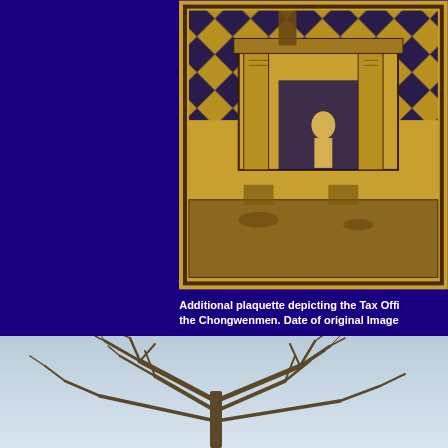[Figure (photo): A plaquette or engraved metal plate depicting the Tax Office at the Chongwenmen. The image shows a building with diamond/checkerboard pattern at top, figures inside, and a ground scene. The plate appears to be brass or gold-colored with dark engraved lines.]
Additional plaquette depicting the Tax Office at the Chongwenmen. Date of original Image
[Figure (photo): A bare winter tree photographed against a pale blue-grey sky. The tree has no leaves, showing its branching structure clearly.]